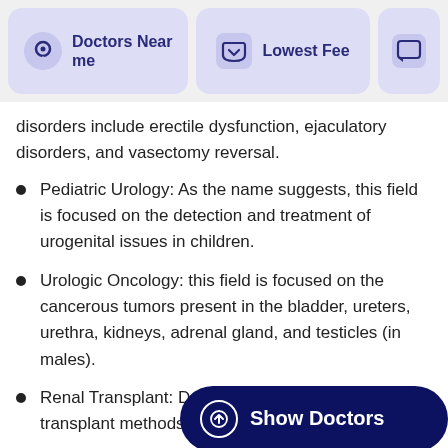Doctors Near me | Lowest Fee
disorders include erectile dysfunction, ejaculatory disorders, and vasectomy reversal.
Pediatric Urology: As the name suggests, this field is focused on the detection and treatment of urogenital issues in children.
Urologic Oncology: this field is focused on the cancerous tumors present in the bladder, ureters, urethra, kidneys, adrenal gland, and testicles (in males).
Renal Transplant: Deals exclusively in kidney transplant methods and problems; renal is…
What are Urologists called in Pa…
A urologist is also referred to as: